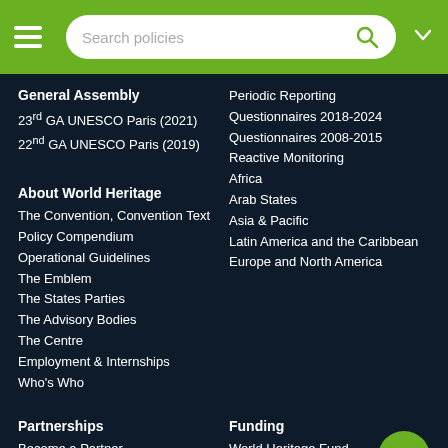Search policies
General Assembly
23rd GA UNESCO Paris (2021)
22nd GA UNESCO Paris (2019)
Periodic Reporting
Questionnaires 2018-2024
Questionnaires 2008-2015
Reactive Monitoring
Africa
Arab States
Asia & Pacific
Latin America and the Caribbean
Europe and North America
About World Heritage
The Convention, Convention Text
Policy Compendium
Operational Guidelines
The Emblem
The States Parties
The Advisory Bodies
The Centre
Employment & Internships
Who's Who
Partnerships
Become a Partner
What Partners Do
Our Partners
Funding
World Heritage Fund
International Assistance